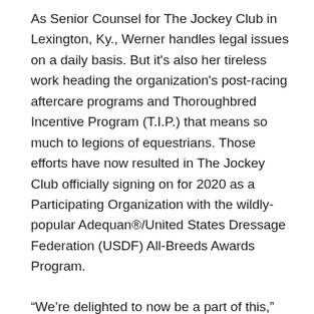As Senior Counsel for The Jockey Club in Lexington, Ky., Werner handles legal issues on a daily basis. But it's also her tireless work heading the organization's post-racing aftercare programs and Thoroughbred Incentive Program (T.I.P.) that means so much to legions of equestrians. Those efforts have now resulted in The Jockey Club officially signing on for 2020 as a Participating Organization with the wildly-popular Adequan®/United States Dressage Federation (USDF) All-Breeds Awards Program.
“We’re delighted to now be a part of this,” said Werner. “As the official breed registry for Thoroughbred horses in North America, I think there is an expectation for The Jockey Club to carry the torch to promote Thoroughbreds in sport after their racing careers are over, and this is another great opportunity to do that. We realize that Thoroughbreds may not be the first thought for many people as a dressage